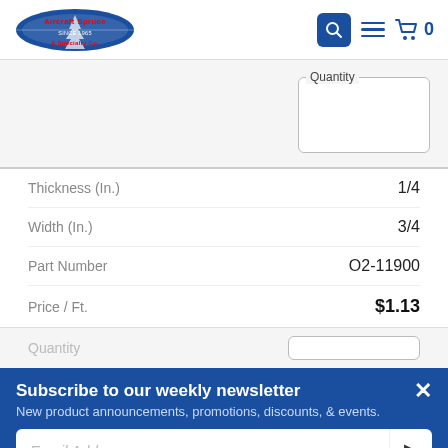Aircraft Spruce & Specialty Co. — Navigation: Search, Menu, Cart (0)
Quantity
| Property | Value |
| --- | --- |
| Thickness (In.) | 1/4 |
| Width (In.) | 3/4 |
| Part Number | O2-11900 |
| Price / Ft. | $1.13 |
Quantity
Subscribe to our weekly newsletter
New product announcements, promotions, discounts, & events.
Email Address